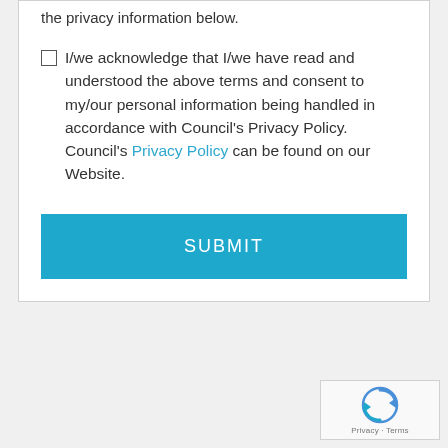the privacy information below.
I/we acknowledge that I/we have read and understood the above terms and consent to my/our personal information being handled in accordance with Council's Privacy Policy. Council's Privacy Policy can be found on our Website.
SUBMIT
[Figure (logo): reCAPTCHA widget with spinning arrows logo and Privacy - Terms footer text]